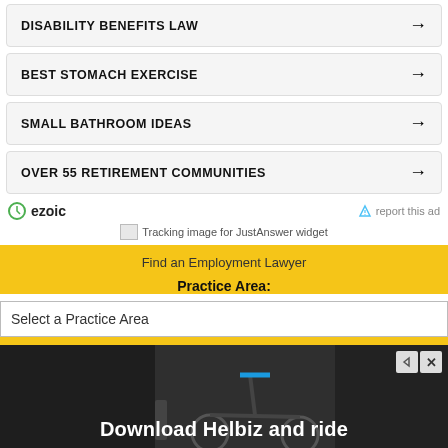DISABILITY BENEFITS LAW →
BEST STOMACH EXERCISE →
SMALL BATHROOM IDEAS →
OVER 55 RETIREMENT COMMUNITIES →
ezoic   report this ad
Tracking image for JustAnswer widget
Find an Employment Lawyer
Practice Area:
Select a Practice Area
[Figure (photo): Advertisement banner showing a scooter with text 'Download Helbiz and ride']